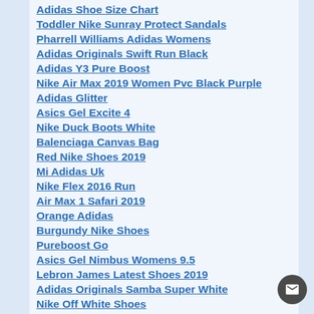Adidas Shoe Size Chart
Toddler Nike Sunray Protect Sandals
Pharrell Williams Adidas Womens
Adidas Originals Swift Run Black
Adidas Y3 Pure Boost
Nike Air Max 2019 Women Pvc Black Purple
Adidas Glitter
Asics Gel Excite 4
Nike Duck Boots White
Balenciaga Canvas Bag
Red Nike Shoes 2019
Mi Adidas Uk
Nike Flex 2016 Run
Air Max 1 Safari 2019
Orange Adidas
Burgundy Nike Shoes
Pureboost Go
Asics Gel Nimbus Womens 9.5
Lebron James Latest Shoes 2019
Adidas Originals Samba Super White
Nike Off White Shoes
Nike Pegasus 35 Turbo